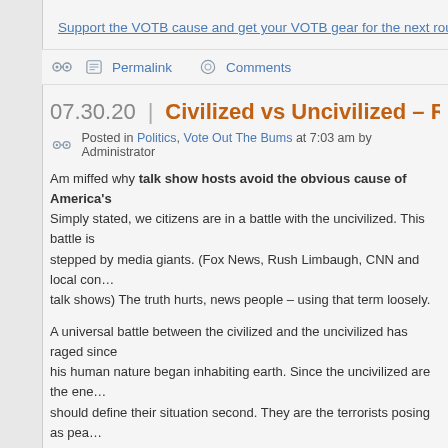Support the VOTB cause and get your VOTB gear for the next round of el…
Permalink   Comments
07.30.20 | Civilized vs Uncivilized – Rush + CNN Wal…
Posted in Politics, Vote Out The Bums at 7:03 am by Administrator
Am miffed why talk show hosts avoid the obvious cause of America's… Simply stated, we citizens are in a battle with the uncivilized. This battle is… stepped by media giants. (Fox News, Rush Limbaugh, CNN and local con… talk shows) The truth hurts, news people – using that term loosely.
A universal battle between the civilized and the uncivilized has raged since… his human nature began inhabiting earth. Since the uncivilized are the ene… should define their situation second. They are the terrorists posing as pea… protesters and deserve very little ink.
Historically speaking being civilized is commonly defined as an advanced s… human society containing highly developed forms of government, culture, … and common social norms. Culture refers to a shared way of life among a… group of people.
A civilized person is described as being the opposite of barbarity. A civilize… polite and courteous; s/he knows culturally polite greetings and congeni…